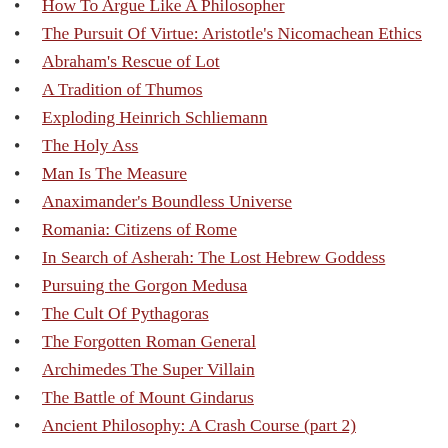How To Argue Like A Philosopher
The Pursuit Of Virtue: Aristotle's Nicomachean Ethics
Abraham's Rescue of Lot
A Tradition of Thumos
Exploding Heinrich Schliemann
The Holy Ass
Man Is The Measure
Anaximander's Boundless Universe
Romania: Citizens of Rome
In Search of Asherah: The Lost Hebrew Goddess
Pursuing the Gorgon Medusa
The Cult Of Pythagoras
The Forgotten Roman General
Archimedes The Super Villain
The Battle of Mount Gindarus
Ancient Philosophy: A Crash Course (part 2)
Caesar's Gaul
Spartan Training: Crafting Warriors Of Legend